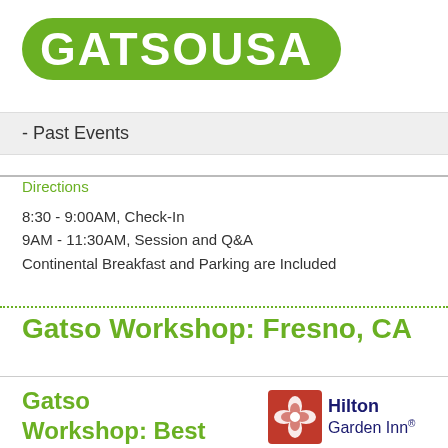[Figure (logo): GATSO USA logo — green pill-shaped background with white bold text GATSO USA]
- Past Events
Directions
8:30 - 9:00AM, Check-In
9AM - 11:30AM, Session and Q&A
Continental Breakfast and Parking are Included
Gatso Workshop: Fresno, CA
Gatso Workshop: Best Practices in Red
[Figure (logo): Hilton Garden Inn logo — red flower icon with dark blue Hilton Garden Inn text]